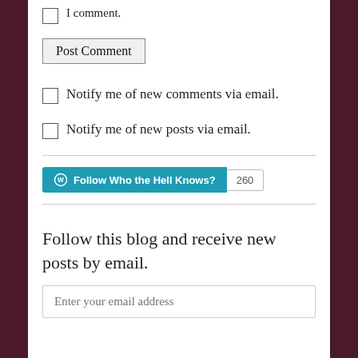I comment.
Post Comment
Notify me of new comments via email.
Notify me of new posts via email.
[Figure (other): WordPress Follow button with count 260 - Follow Who the Hell Knows?]
Follow this blog and receive new posts by email.
Enter your email address